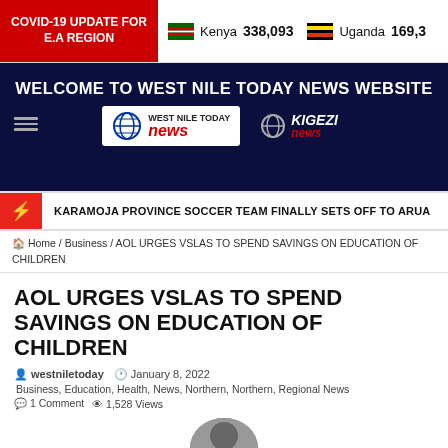COVID-19 UPDATE FOR E.A REGION | Kenya 338,093 | Uganda 169,3...
[Figure (screenshot): West Nile Today News website header with logo and Kigezi news logo on dark blue background]
WELCOME TO WEST NILE TODAY NEWS WEBSITE
KARAMOJA PROVINCE SOCCER TEAM FINALLY SETS OFF TO ARUA
Home / Business / AOL URGES VSLAS TO SPEND SAVINGS ON EDUCATION OF CHILDREN
AOL URGES VSLAS TO SPEND SAVINGS ON EDUCATION OF CHILDREN
westniletoday   January 8, 2022
Business, Education, Health, News, Northern, Northern, Regional News
1 Comment   1,528 Views